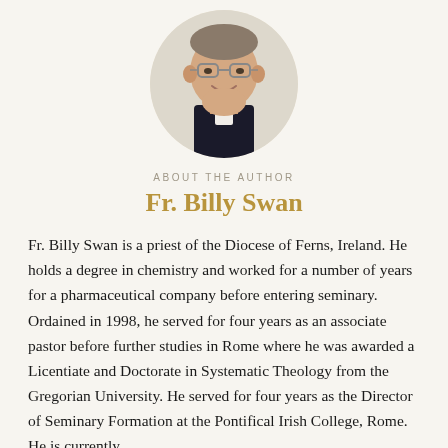[Figure (photo): Circular headshot photo of Fr. Billy Swan, a priest wearing black clerical collar with white insert, smiling, against a light beige circular background]
ABOUT THE AUTHOR
Fr. Billy Swan
Fr. Billy Swan is a priest of the Diocese of Ferns, Ireland. He holds a degree in chemistry and worked for a number of years for a pharmaceutical company before entering seminary. Ordained in 1998, he served for four years as an associate pastor before further studies in Rome where he was awarded a Licentiate and Doctorate in Systematic Theology from the Gregorian University. He served for four years as the Director of Seminary Formation at the Pontifical Irish College, Rome. He is currently